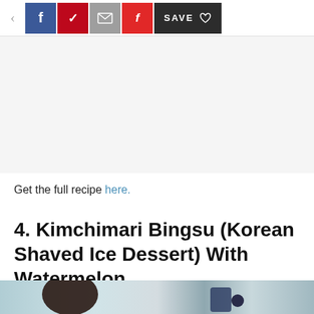[Figure (screenshot): Social sharing toolbar with back arrow, Facebook, Pinterest, Email, Flipboard, and Save buttons]
[Figure (other): Advertisement or blank gray area placeholder]
Get the full recipe here.
4. Kimchimari Bingsu (Korean Shaved Ice Dessert) With Watermelon
[Figure (photo): Partial photo of Korean shaved ice dessert (Bingsu) with dark colored toppings and blueberries, with light blue/teal background]